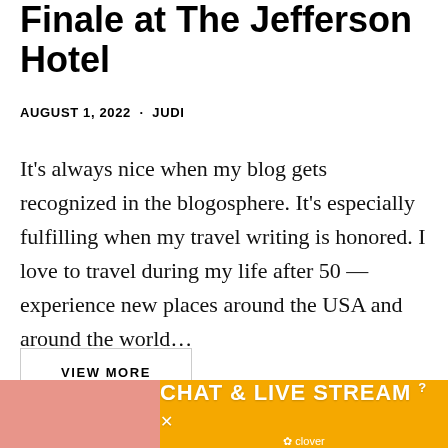Honors – A Grand Road Trip Finale at The Jefferson Hotel
AUGUST 1, 2022 · JUDI
It's always nice when my blog gets recognized in the blogosphere. It's especially fulfilling when my travel writing is honored. I love to travel during my life after 50 — experience new places around the USA and around the world…
VIEW MORE
[Figure (infographic): Advertisement banner for Chat & Live Stream by Clover, orange background with woman on beach and heart emojis]